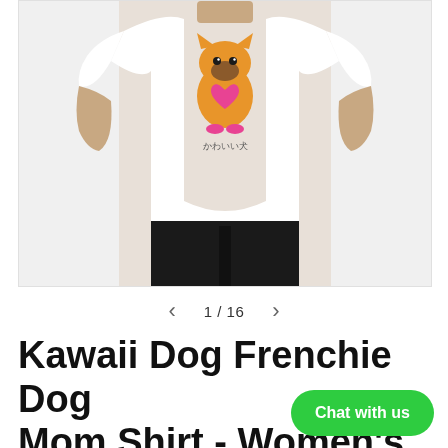[Figure (photo): Product photo of a woman wearing a white short-sleeve t-shirt featuring a cute kawaii French Bulldog cartoon illustration with Japanese text (かわいい犬) below it. The model is shown from neck to thighs, wearing black pants. Background is light gray.]
1 / 16
Kawaii Dog Frenchie Dog Mom Shirt - Women's